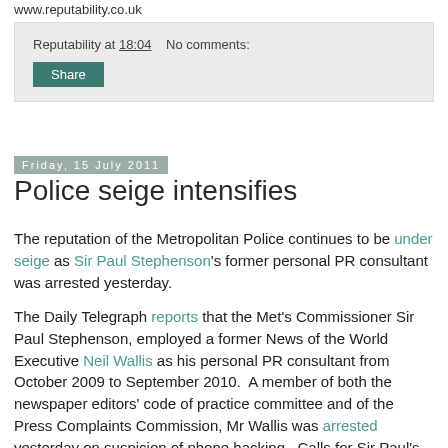www.reputability.co.uk
Reputability at 18:04   No comments:
Share
Friday, 15 July 2011
Police seige intensifies
The reputation of the Metropolitan Police continues to be under seige as Sir Paul Stephenson's former personal PR consultant was arrested yesterday.
The Daily Telegraph reports that the Met's Commissioner Sir Paul Stephenson, employed a former News of the World Executive Neil Wallis as his personal PR consultant from October 2009 to September 2010.  A member of both the newspaper editors' code of practice committee and of the Press Complaints Commission, Mr Wallis was arrested yesterday on suspicion of phone hacking.  Calls for Sir Paul's resignation have begun.